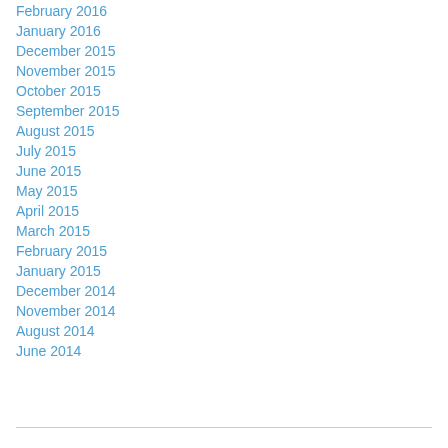February 2016
January 2016
December 2015
November 2015
October 2015
September 2015
August 2015
July 2015
June 2015
May 2015
April 2015
March 2015
February 2015
January 2015
December 2014
November 2014
August 2014
June 2014